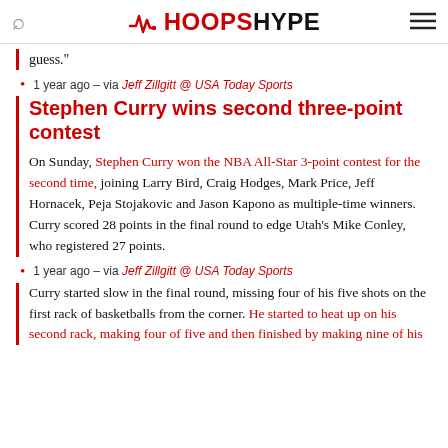HoopsHype
guess."
1 year ago – via Jeff Zillgitt @ USA Today Sports
Stephen Curry wins second three-point contest
On Sunday, Stephen Curry won the NBA All-Star 3-point contest for the second time, joining Larry Bird, Craig Hodges, Mark Price, Jeff Hornacek, Peja Stojakovic and Jason Kapono as multiple-time winners. Curry scored 28 points in the final round to edge Utah's Mike Conley, who registered 27 points.
1 year ago – via Jeff Zillgitt @ USA Today Sports
Curry started slow in the final round, missing four of his five shots on the first rack of basketballs from the corner. He started to heat up on his second rack, making four of five and then finished by making nine of his